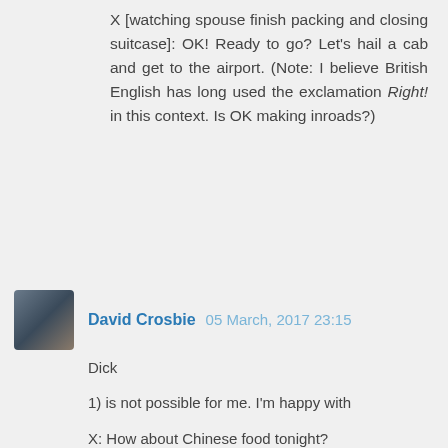X [watching spouse finish packing and closing suitcase]: OK! Ready to go? Let's hail a cab and get to the airport. (Note: I believe British English has long used the exclamation Right! in this context. Is OK making inroads?)
David Crosbie  05 March, 2017 23:15
Dick
1) is not possible for me. I'm happy with
X: How about Chinese food tonight?
Me: OK.
(i.e. agreeing to somebody else's suggestion)
but not to mean 'Yes, that's still the case'.
I can't speak for other BrE speakers, but I'm not aware of having heard this use of OK.